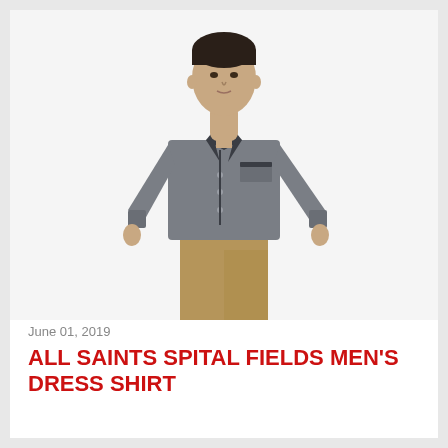[Figure (photo): A young man wearing a grey long-sleeve dress shirt with dark collar and chest pocket trim, paired with khaki pants, standing against a white background.]
June 01, 2019
ALL SAINTS SPITAL FIELDS MEN'S DRESS SHIRT